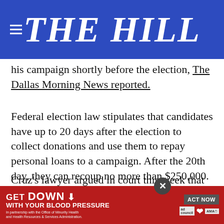THE HILL
his campaign shortly before the election, The Dallas Morning News reported.
Federal election law stipulates that candidates have up to 20 days after the election to collect donations and use them to repay personal loans to a campaign. After the 20th day, they can recoup no more than $250,000.
Cruz's lawyer argued in court this week that the FEC cap amounts to a suppression of First Amendment rights, and that he should be able to [repay the loan with campaign donations, the lawsuit reported].
[Figure (infographic): Red advertisement banner for blood pressure awareness: GET DOWN WITH YOUR BLOOD PRESSURE, ACT NOW, In partnership with the Office of Minority Health and Health Resources & Services Administration, with ad council, American Heart Association, and AMA logos.]